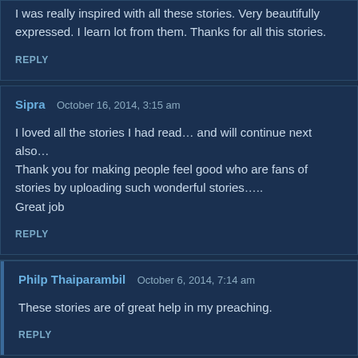I was really inspired with all these stories. Very beautifully expressed. I learn lot from them. Thanks for all this stories.
REPLY
Sipra   October 16, 2014, 3:15 am
I loved all the stories I had read… and will continue next also… Thank you for making people feel good who are fans of stories by uploading such wonderful stories….. Great job
REPLY
Philp Thaiparambil   October 6, 2014, 7:14 am
These stories are of great help in my preaching.
REPLY